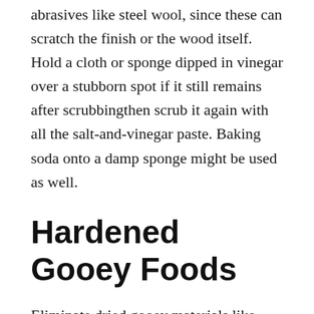abrasives like steel wool, since these can scratch the finish or the wood itself. Hold a cloth or sponge dipped in vinegar over a stubborn spot if it still remains after scrubbingthen scrub it again with all the salt-and-vinegar paste. Baking soda onto a damp sponge might be used as well.
Hardened Gooey Foods
Eliminate dried gooey materials like maple syrup, honey or chocolate with a few ice cubes placed in a refrigerated sandwich tote. Hold the bag of ice within the issue spot for several minutes or till the material hardens. Scrape the material away with the advantage of a plastic knife, bowl of a plastic spoon, or a sheet of card stock. Wipe away any remaining